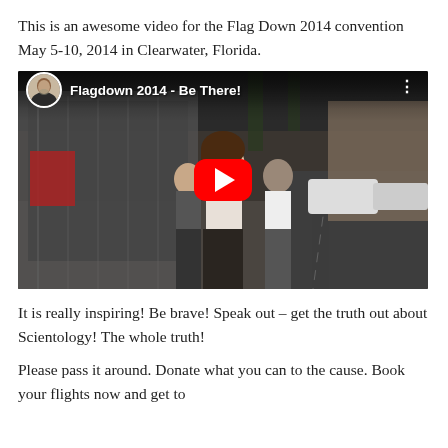This is an awesome video for the Flag Down 2014 convention May 5-10, 2014 in Clearwater, Florida.
[Figure (screenshot): YouTube video thumbnail showing a woman walking on a sidewalk with people behind her, with YouTube player UI overlay showing title 'Flagdown 2014 - Be There!' and a red play button in the center.]
It is really inspiring! Be brave! Speak out – get the truth out about Scientology! The whole truth!
Please pass it around. Donate what you can to the cause. Book your flights now and get to